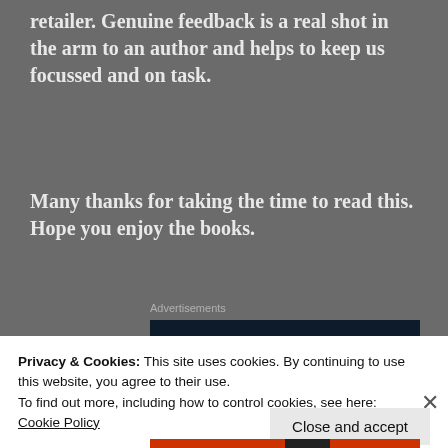retailer. Genuine feedback is a real shot in the arm to an author and helps to keep us focussed and on task.
Many thanks for taking the time to read this. Hope you enjoy the books.
Advertisements
[Figure (logo): WordPress logo (white circle W on dark navy background) in an advertisement banner]
Privacy & Cookies: This site uses cookies. By continuing to use this website, you agree to their use.
To find out more, including how to control cookies, see here: Cookie Policy
Close and accept